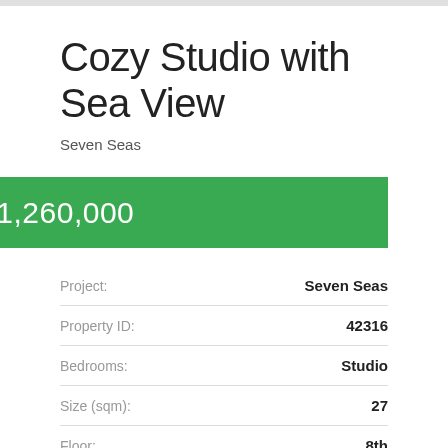Cozy Studio with Sea View
Seven Seas
฿ 1,260,000
| Field | Value |
| --- | --- |
| Project: | Seven Seas |
| Property ID: | 42316 |
| Bedrooms: | Studio |
| Size (sqm): | 27 |
| Floor: | 8th |
| View: | Sea View |
| Sale Price: | ฿ 1,260,000 |